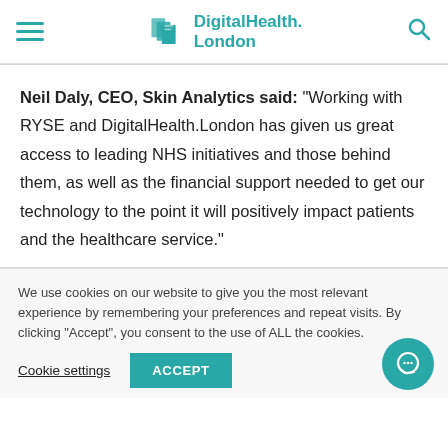DigitalHealth.London
Neil Daly, CEO, Skin Analytics said: “Working with RYSE and DigitalHealth.London has given us great access to leading NHS initiatives and those behind them, as well as the financial support needed to get our technology to the point it will positively impact patients and the healthcare service.”
We use cookies on our website to give you the most relevant experience by remembering your preferences and repeat visits. By clicking “Accept”, you consent to the use of ALL the cookies.